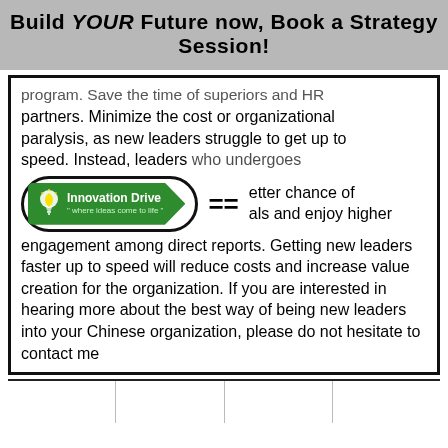Build YOUR Future now, Book a Strategy Session!
program. Save the time of superiors and HR partners. Minimize the cost or organizational paralysis, as new leaders struggle to get up to speed. Instead, leaders who undergoes [Innovation Drive logo] = better chance of [goals] and enjoy higher engagement among direct reports. Getting new leaders faster up to speed will reduce costs and increase value creation for the organization. If you are interested in hearing more about the best way of being new leaders into your Chinese organization, please do not hesitate to contact me
[Figure (logo): Green arrow road sign logo reading 'Innovation Drive - where ideas come to life' with lightbulb icon, inside an oval, next to equals sign]